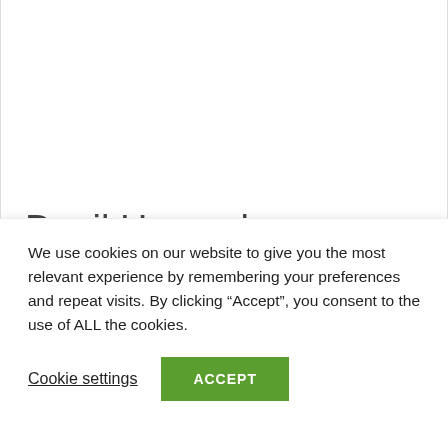[Figure (illustration): Book cover of 'Devil House' by John Darnielle. Features a red abstract splash/paint design on a white background with a dark top section showing a small house illustration. Author name 'John Darnielle' appears in bold black serif text on the cover.]
Devil House by John Darnielle
Devil House by John Darnielle My
We use cookies on our website to give you the most relevant experience by remembering your preferences and repeat visits. By clicking “Accept”, you consent to the use of ALL the cookies.
Cookie settings
ACCEPT